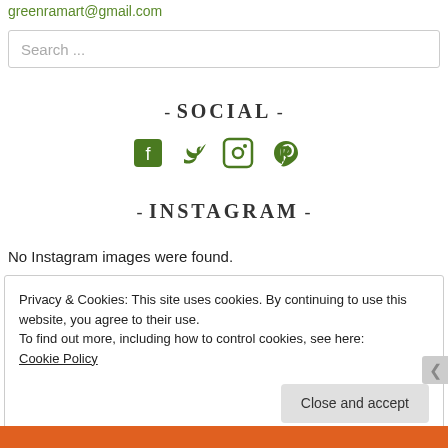greenramart@gmail.com
Search ...
- SOCIAL -
[Figure (infographic): Four social media icons in green: Facebook, Twitter, Instagram, Pinterest]
- INSTAGRAM -
No Instagram images were found.
Privacy & Cookies: This site uses cookies. By continuing to use this website, you agree to their use.
To find out more, including how to control cookies, see here:
Cookie Policy
Close and accept